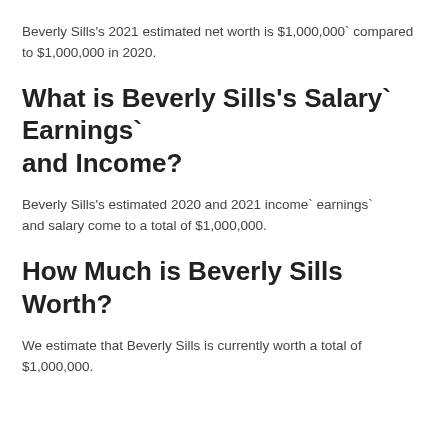Beverly Sills's 2021 estimated net worth is $1,000,000` compared to $1,000,000 in 2020.
What is Beverly Sills's Salary` Earnings` and Income?
Beverly Sills's estimated 2020 and 2021 income` earnings` and salary come to a total of $1,000,000.
How Much is Beverly Sills Worth?
We estimate that Beverly Sills is currently worth a total of $1,000,000.